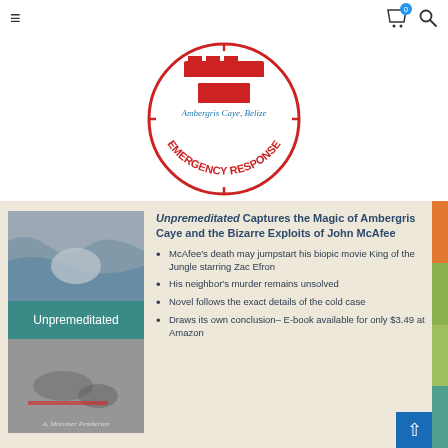Navigation header with hamburger menu, cart icon with badge 0, and search icon
[Figure (logo): Ambergris Caye Belize Emergency Response circular logo with red text and red shield/banner emblem, blue script text reading 'Ambergris Caye, Belize']
[Figure (illustration): Book cover for 'Unpremeditated' showing black and white photos - top portion with water/swimming scene, middle teal band with title text, bottom with dramatic scene]
Unpremeditated Captures the Magic of Ambergris Caye and the Bizarre Exploits of John McAfee
McAfee's death may jumpstart his biopic movie King of the Jungle starring Zac Efron
His neighbor's murder remains unsolved
Novel follows the exact details of the cold case
Draws its own conclusion– E-book available for only $3.49 at Amazon